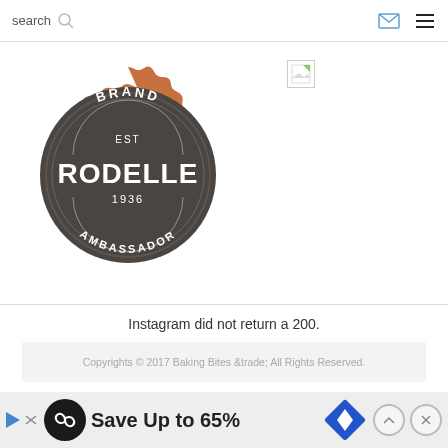search
[Figure (logo): Rodelle Brand Ambassador Est 1936 badge logo — circular dark brown/grey badge with orange serrated border, white text reading BRAND at top, EST in middle, RODELLE in large text, 1936 below, AMBASSADOR at bottom]
[Figure (other): Broken image placeholder icon — small white square with colored corner leaf icon and border]
Instagram did not return a 200.
Copyrights © 2017 Baking Bites &trade; All Rights Reserved.
AN ELITE CAFEMEDIA FOOD PUBLISHER
[Figure (other): Advertisement banner: Save Up to 65% with circular black logo with infinity-like symbol, blue play icon, and blue diamond direction sign]